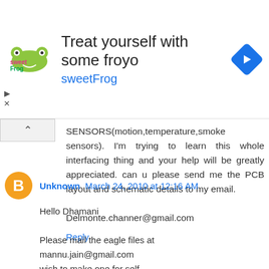[Figure (other): SweetFrog frozen yogurt advertisement banner with logo, headline 'Treat yourself with some froyo', brand name 'sweetFrog', and a blue navigation arrow icon]
SENSORS(motion,temperature,smoke sensors). I'm trying to learn this whole interfacing thing and your help will be greatly appreciated. can u please send me the PCB layout and schematic details to my email.

Delmonte.channer@gmail.com
Reply
Unknown March 24, 2010 at 12:16 AM

Hello Dhamani

Please mail the eagle files at mannu.jain@gmail.com
wish to make one for self